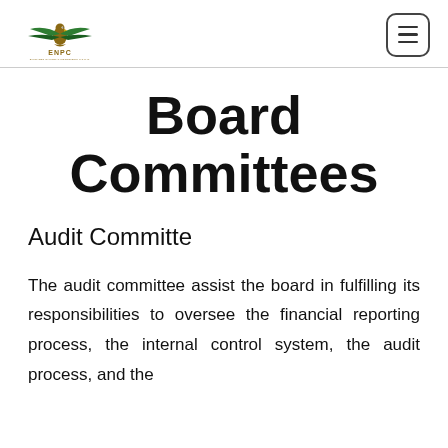ENPC — Emirates National Petroleum P.J.S.C. logo and navigation menu
Board Committees
Audit Committe
The audit committee assist the board in fulfilling its responsibilities to oversee the financial reporting process, the internal control system, the audit process, and the